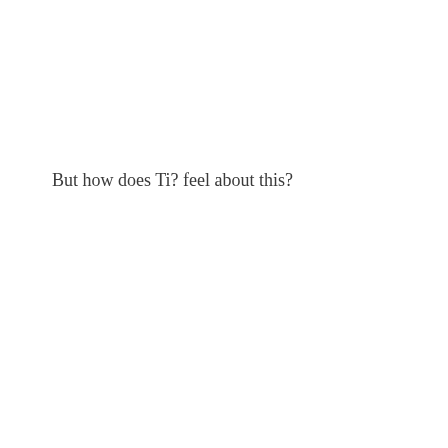But how does Ti? feel about this?